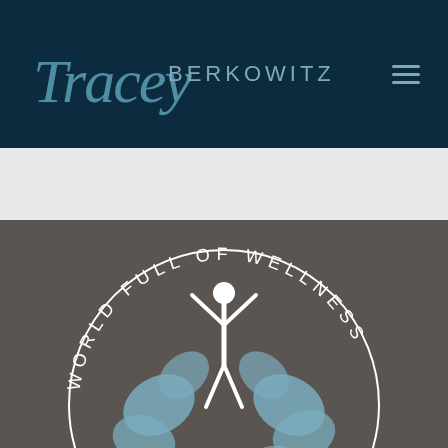Tracey BERKOWITZ
[Figure (logo): World Full of Wellness circular logo with a stylized figure raising arms above organic leaf shapes, text reading 'WORLD FULL OF WELLNESS' around the circle, teal/slate blue color on dark gray background]